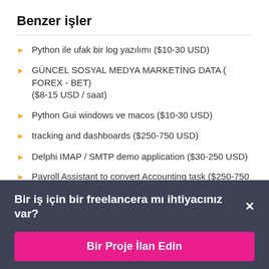Benzer işler
Python ile ufak bir log yazılımı ($10-30 USD)
GÜNCEL SOSYAL MEDYA MARKETİNG DATA ( FOREX - BET) ($8-15 USD / saat)
Python Gui windows ve macos ($10-30 USD)
tracking and dashboards ($250-750 USD)
Delphi IMAP / SMTP demo application ($30-250 USD)
Payroll Assistant to convert Accounting task ($250-750...
Bir iş için bir freelancera mı ihtiyacınız var? ×
Bir Proje İlan Edin